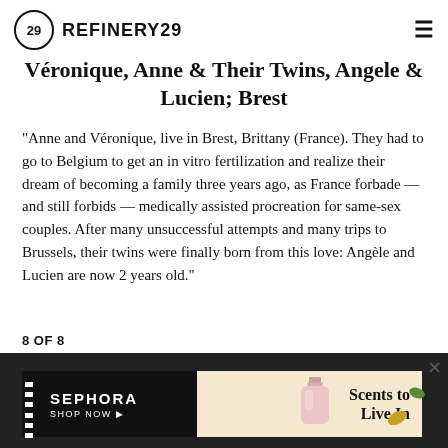REFINERY29
Véronique, Anne & Their Twins, Angele & Lucien; Brest
"Anne and Véronique, live in Brest, Brittany (France). They had to go to Belgium to get an in vitro fertilization and realize their dream of becoming a family three years ago, as France forbade — and still forbids — medically assisted procreation for same-sex couples. After many unsuccessful attempts and many trips to Brussels, their twins were finally born from this love: Angèle and Lucien are now 2 years old."
8 OF 8
[Figure (screenshot): Advertisement banner for Sephora featuring 'Scents to Live In' with a perfume bottle image, dark left panel with Sephora logo and 'SHOP NOW' text, and warm beige right panel with decorative elements.]